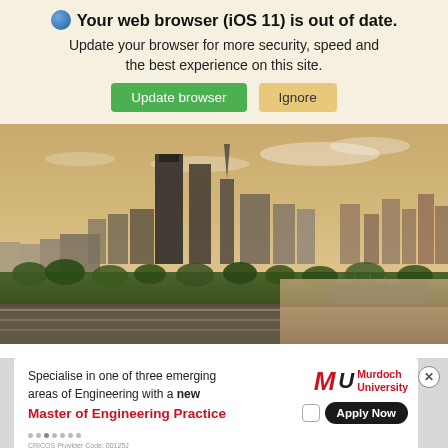Your web browser (iOS 11) is out of date.
Update your browser for more security, speed and the best experience on this site.
Update browser | Ignore
[Figure (photo): Aerial/skyline photo of a city (Perth, Australia) at sunset showing tall skyscrapers, tree-lined parkland, a river/harbour, and roads in the foreground against a warm sky.]
[Figure (other): Advertisement for Murdoch University Master of Engineering Practice. Text: Specialise in one of three emerging areas of Engineering with a new Master of Engineering Practice. Buttons: Apply Now. Logo: MU Murdoch University.]